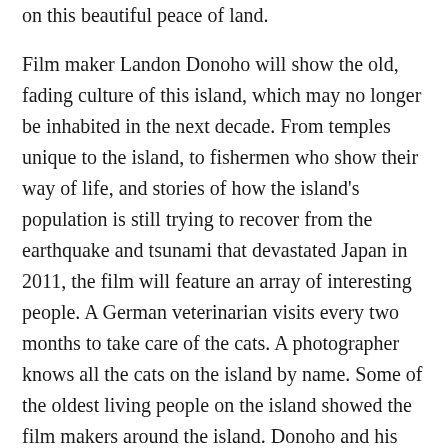on this beautiful peace of land.

Film maker Landon Donoho will show the old, fading culture of this island, which may no longer be inhabited in the next decade. From temples unique to the island, to fishermen who show their way of life, and stories of how the island's population is still trying to recover from the earthquake and tsunami that devastated Japan in 2011, the film will feature an array of interesting people. A German veterinarian visits every two months to take care of the cats. A photographer knows all the cats on the island by name. Some of the oldest living people on the island showed the film makers around the island. Donoho and his crew developed a sense of closeness with many of the people (and cats) they met there, and his hope is that this closeness will convey to the viewer.